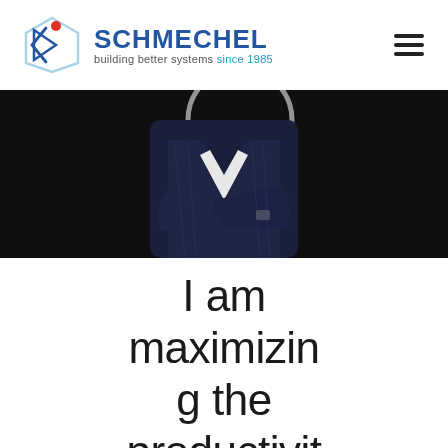[Figure (logo): Schmechel logo with geometric diamond/arrow icon in light blue and a red dot, followed by bold blue text SCHMECHEL and tagline 'building better systems since 1985' with 'since 1985' in light blue]
[Figure (photo): A man in a dark navy pinstripe suit with arms crossed, against a dark/black background. A partial circular/ring shape is visible in the upper portion.]
I am maximizing the productivity of my